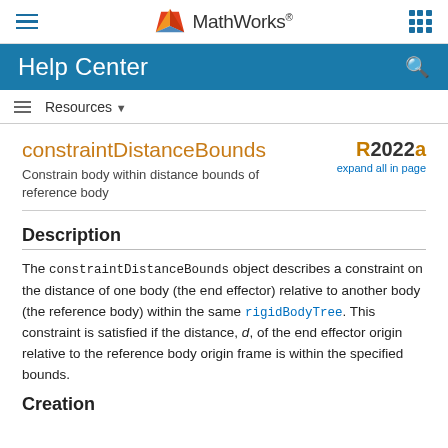MathWorks Help Center
constraintDistanceBounds
Constrain body within distance bounds of reference body
Description
The constraintDistanceBounds object describes a constraint on the distance of one body (the end effector) relative to another body (the reference body) within the same rigidBodyTree. This constraint is satisfied if the distance, d, of the end effector origin relative to the reference body origin frame is within the specified bounds.
Creation